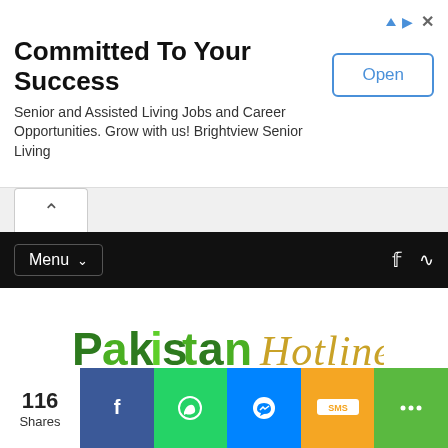[Figure (screenshot): Advertisement banner: 'Committed To Your Success' - Senior and Assisted Living Jobs and Career Opportunities. Grow with us! Brightview Senior Living. With an Open button.]
[Figure (screenshot): Chevron/up arrow navigation bar with white tab on gray background]
Menu
[Figure (logo): Pakistan Hotline logo - 'Pakistan' in green stylized font and 'Hotline' in gold italic script]
116 Shares
[Figure (screenshot): Social sharing bar with Facebook, WhatsApp, Messenger, SMS, and more share buttons]